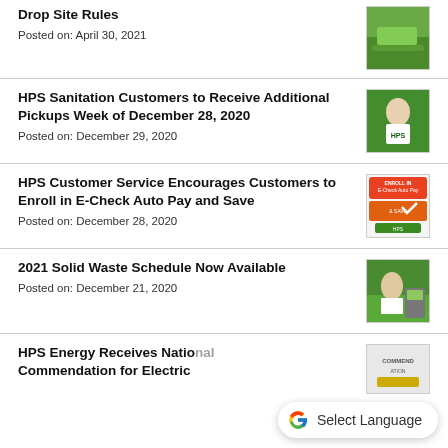Drop Site Rules
Posted on: April 30, 2021
[Figure (photo): Green drop site photo]
HPS Sanitation Customers to Receive Additional Pickups Week of December 28, 2020
Posted on: December 29, 2020
[Figure (photo): HPS worker near green bins]
HPS Customer Service Encourages Customers to Enroll in E-Check Auto Pay and Save
Posted on: December 28, 2020
[Figure (photo): E-Check Auto Pay promotional graphic]
2021 Solid Waste Schedule Now Available
Posted on: December 21, 2020
[Figure (photo): HPS worker outdoors with green equipment]
HPS Energy Receives National Commendation for Electric
[Figure (photo): Commendation award graphic]